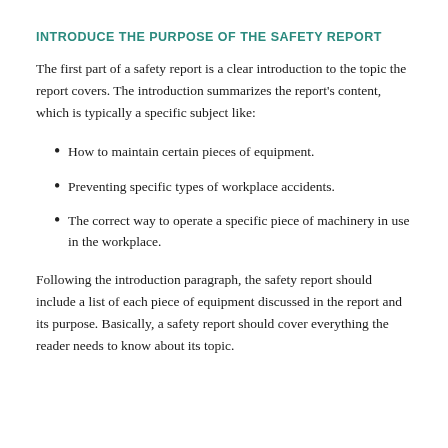INTRODUCE THE PURPOSE OF THE SAFETY REPORT
The first part of a safety report is a clear introduction to the topic the report covers. The introduction summarizes the report’s content, which is typically a specific subject like:
How to maintain certain pieces of equipment.
Preventing specific types of workplace accidents.
The correct way to operate a specific piece of machinery in use in the workplace.
Following the introduction paragraph, the safety report should include a list of each piece of equipment discussed in the report and its purpose. Basically, a safety report should cover everything the reader needs to know about its topic.